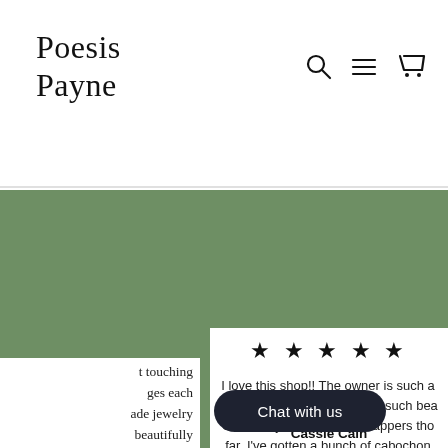Poesis Payne
[Figure (screenshot): Navigation icons: search magnifier, hamburger menu, and shopping cart]
[Figure (other): Green background decorative area with white card panels on left and right]
t touching ges each ade jewelry beautifully nd sweet ce for all the
★ ★ ★ ★ ★
I love this shop!! The owner is such a hearted soul and she makes such bea One of my favorite wire wrappers tho far, I've gotten a bunch of cabochon destashing on Instagram and they' pretty! Ships quickly and is packed w currently wait nd a m I can't w hend t
Chat with us
Cassie Cain